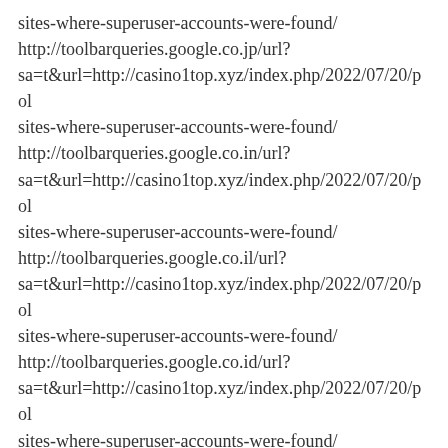sites-where-superuser-accounts-were-found/ http://toolbarqueries.google.co.jp/url? sa=t&url=http://casino1top.xyz/index.php/2022/07/20/pol sites-where-superuser-accounts-were-found/ http://toolbarqueries.google.co.in/url? sa=t&url=http://casino1top.xyz/index.php/2022/07/20/pol sites-where-superuser-accounts-were-found/ http://toolbarqueries.google.co.il/url? sa=t&url=http://casino1top.xyz/index.php/2022/07/20/pol sites-where-superuser-accounts-were-found/ http://toolbarqueries.google.co.id/url? sa=t&url=http://casino1top.xyz/index.php/2022/07/20/pol sites-where-superuser-accounts-were-found/ http://toolbarqueries.google.co.cr/url? sa=t&url=http://casino1top.xyz/index.php/2022/07/20/pol sites-where-superuser-accounts-were-found/ http://toolbarqueries.google.co.bw/url?